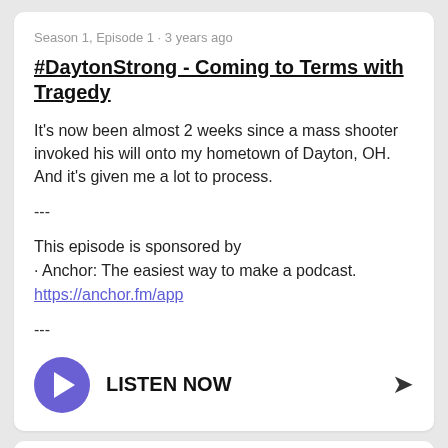Season 1, Episode 1 · 3 years ago
#DaytonStrong - Coming to Terms with Tragedy
It's now been almost 2 weeks since a mass shooter invoked his will onto my hometown of Dayton, OH. And it's given me a lot to process.
---
This episode is sponsored by
· Anchor: The easiest way to make a podcast.
https://anchor.fm/app
---
LISTEN NOW
Season 1, Episode 1 · 3 years ago